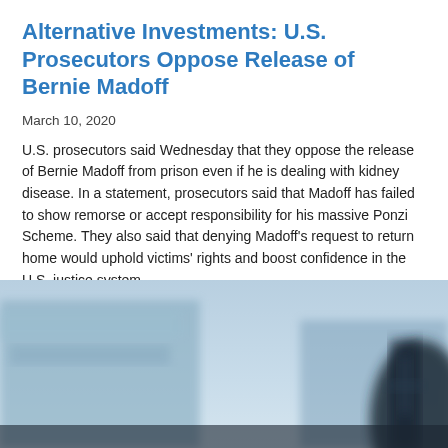Alternative Investments: U.S. Prosecutors Oppose Release of Bernie Madoff
March 10, 2020
U.S. prosecutors said Wednesday that they oppose the release of Bernie Madoff from prison even if he is dealing with kidney disease. In a statement, prosecutors said that Madoff has failed to show remorse or accept responsibility for his massive Ponzi Scheme. They also said that denying Madoff's request to return home would uphold victims' rights and boost confidence in the U.S. justice system.
[Figure (photo): Blurred outdoor photograph with a light blue sky background and a dark silhouetted figure or structure in the foreground, suggesting a building exterior.]